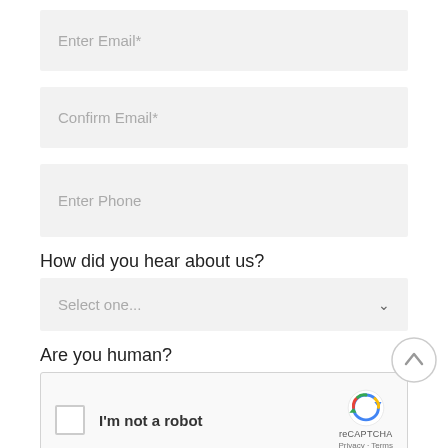Enter Email*
Confirm Email*
Enter Phone
How did you hear about us?
Select one...
Are you human?
[Figure (screenshot): reCAPTCHA widget with checkbox labeled 'I'm not a robot' and reCAPTCHA logo with Privacy and Terms links]
[Figure (other): Circular up-arrow scroll-to-top button]